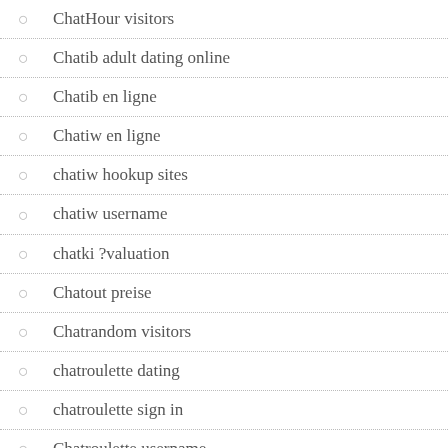ChatHour visitors
Chatib adult dating online
Chatib en ligne
Chatiw en ligne
chatiw hookup sites
chatiw username
chatki ?valuation
Chatout preise
Chatrandom visitors
chatroulette dating
chatroulette sign in
Chatroulette username